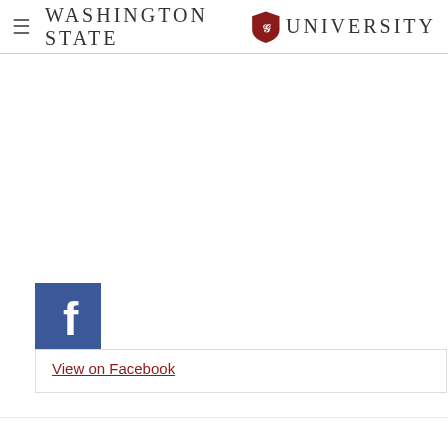Washington State University
[Figure (logo): Facebook logo icon (blue square with white f)]
View on Facebook